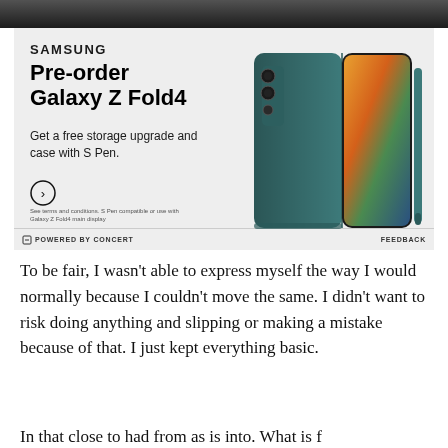[Figure (photo): Dark background image strip at top of page, partially cropped]
[Figure (infographic): Samsung advertisement for Galaxy Z Fold4 pre-order. Text reads: SAMSUNG, Pre-order Galaxy Z Fold4, Get a free storage upgrade and case with S Pen. Shows product image of folded phone in teal color with S Pen. Fine print: See terms and conditions. S Pen compatible or use with Galaxy Z Fold4 main display. Footer: POWERED BY CONCERT | FEEDBACK]
To be fair, I wasn't able to express myself the way I would normally because I couldn't move the same. I didn't want to risk doing anything and slipping or making a mistake because of that. I just kept everything basic.
In that close to had from as is into. What is f...